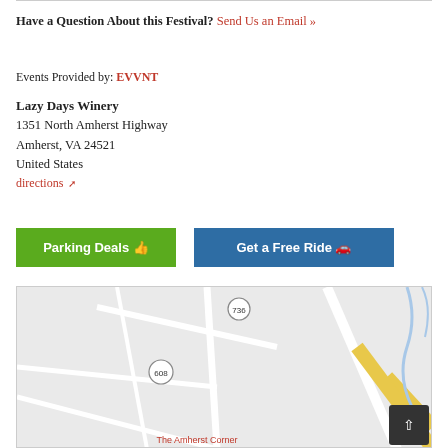Have a Question About this Festival? Send Us an Email »
Events Provided by: EVVNT
Lazy Days Winery
1351 North Amherst Highway
Amherst, VA 24521
United States
directions
[Figure (other): Green Parking Deals button and blue Get a Free Ride button]
[Figure (map): Street map showing area around Lazy Days Winery near Amherst, VA with route 736 and 608 labeled, The Amherst Corner label visible at bottom, and a yellow road running diagonally.]